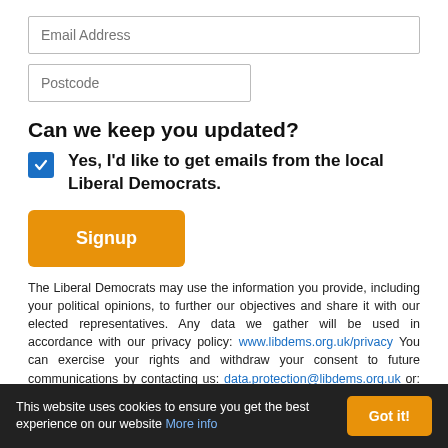Email Address
Postcode
Can we keep you updated?
Yes, I'd like to get emails from the local Liberal Democrats.
Signup
The Liberal Democrats may use the information you provide, including your political opinions, to further our objectives and share it with our elected representatives. Any data we gather will be used in accordance with our privacy policy: www.libdems.org.uk/privacy You can exercise your rights and withdraw your consent to future communications by contacting us: data.protection@libdems.org.uk or: DPO, Lib Dems, 1 Vincent Square, SW1P 2PN.
This website uses cookies to ensure you get the best experience on our website More info  Got it!